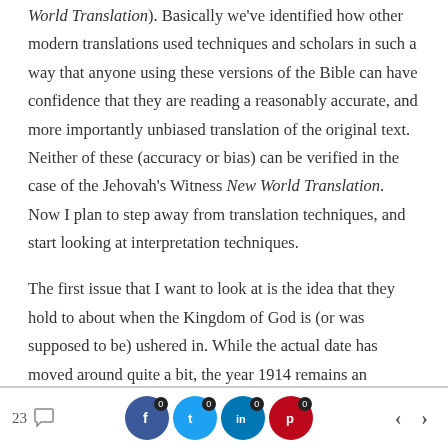...reliability) of their own version of their Bible (the New World Translation). Basically we've identified how other modern translations used techniques and scholars in such a way that anyone using these versions of the Bible can have confidence that they are reading a reasonably accurate, and more importantly unbiased translation of the original text. Neither of these (accuracy or bias) can be verified in the case of the Jehovah's Witness New World Translation. Now I plan to step away from translation techniques, and start looking at interpretation techniques.
The first issue that I want to look at is the idea that they hold to about when the Kingdom of God is (or was supposed to be) ushered in. While the actual date has moved around quite a bit, the year 1914 remains an
23  [social share icons: Facebook 0, Twitter 0, LinkedIn 0, Pinterest 0]  < >